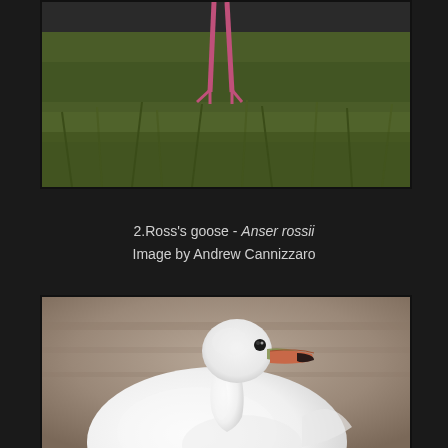[Figure (photo): Partial photo of a bird (likely Ross's goose or flamingo) on grass with pink legs/feet visible at the top. Green grass background.]
2.Ross's goose - Anser rossii
Image by Andrew Cannizzaro
[Figure (photo): Close-up photo of a white Ross's goose (Anser rossii) showing head, neck, and upper body. The bird is white with a small orange-pink beak and black eye. Background is blurred brownish-gray (likely a wall or path).]